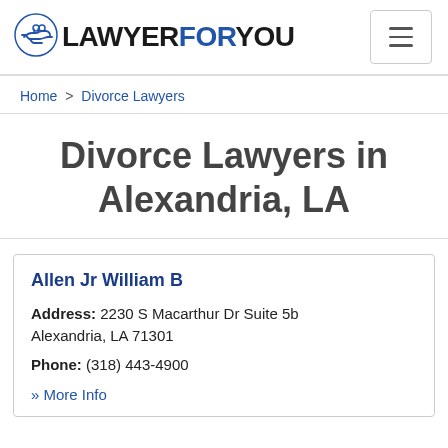LAWYERFORYOU
Home > Divorce Lawyers
Divorce Lawyers in Alexandria, LA
Allen Jr William B
Address: 2230 S Macarthur Dr Suite 5b Alexandria, LA 71301
Phone: (318) 443-4900
» More Info